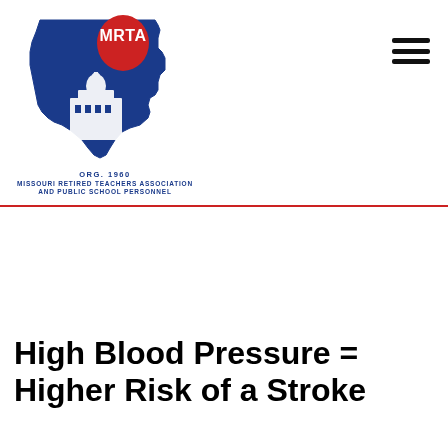[Figure (logo): MRTA logo: Missouri state outline in blue with a red apple and white capitol building inside, with 'MRTA' text in white on the apple. Below: 'ORG. 1960' and 'MISSOURI RETIRED TEACHERS ASSOCIATION AND PUBLIC SCHOOL PERSONNEL' in blue text.]
High Blood Pressure = Higher Risk of a Stroke